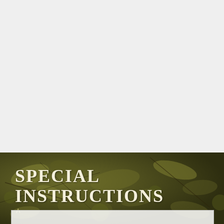[Figure (photo): Dark olive/khaki textured background photo showing leaves, twigs and organic matter, occupying the bottom portion of the page]
SPECIAL INSTRUCTIONS
[Figure (other): White/light grey bar at the very bottom of the page, partially visible]